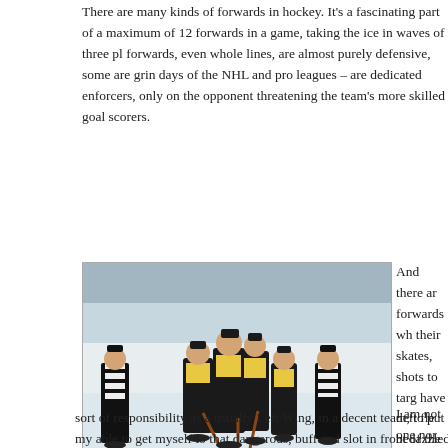There are many kinds of forwards in hockey. It's a fascinating part of a maximum of 12 forwards in a game, taking the ice in waves of three players forwards, even whole lines, are almost purely defensive, some are grin days of the NHL and pro leagues – are dedicated enforcers, only on the opponent threatening the team's more skilled goal scorers.
[Figure (photo): Hockey players in black and yellow jerseys celebrating on ice, being mobbed by teammates after scoring. A referee in stripes is nearby. Watermark: LMedia.]
My boy, Big Cat, is mobbed by Cherokees after scoring. He got a hat-trick last night and is a pure goal-scorer when fit and firing. Pic: Luke Milkovic.
And there are forwards who their skates, shots to targets have deft fle bedazzled, h heads up an goalie movin direction, an where he or
I am not one nor am I a p old fashione sort of responsibility as a usually Left Wing, in a decent team, to put my able to get myself to that dangerous, buffeted slot in front of the go